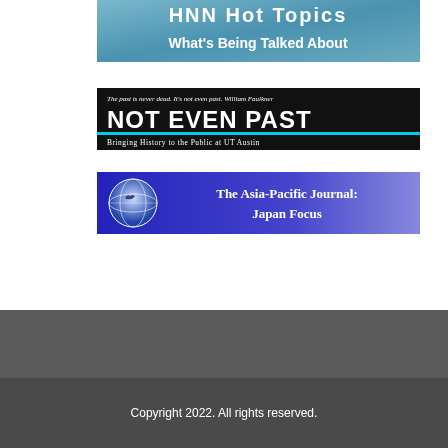[Figure (screenshot): HNN Hot Topics banner - What's Being Talked About, blue/teal gradient background]
[Figure (screenshot): Not Even Past banner - black background with quote 'The past is never dead. It's not even past. William Faulkner', large white text 'NOT EVEN PAST', cyan underline, and subtitle 'Bringing History to the Public at UT Austin']
[Figure (screenshot): The Asia-Pacific Journal: Japan Focus banner - blue/purple gradient with globe logo and white text]
Copyright 2022. All rights reserved.